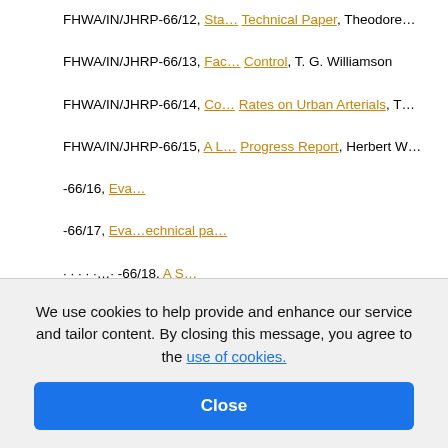FHWA/IN/JHRP-66/12, Sta... Technical Paper, Theodore...
FHWA/IN/JHRP-66/13, Fac... Control, T. G. Williamson
FHWA/IN/JHRP-66/14, Co... Rates on Urban Arterials, T...
FHWA/IN/JHRP-66/15, A L... Progress Report, Herbert W...
FHWA/IN/JHRP-66/16, Eva...
FHWA/IN/JHRP-66/17, Eva... echnical pa...
FHWA/IN/JHRP-66/18, A S...
We use cookies to help provide and enhance our service and tailor content. By closing this message, you agree to the use of cookies.
Close